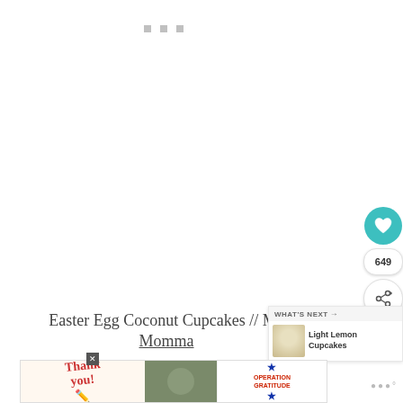[Figure (screenshot): Website screenshot showing blank/loading main content area with three small grey dots at top center, side buttons including teal heart button and share button with count 649]
Easter Egg Coconut Cupcakes // Ma... Momma
[Figure (infographic): What's Next panel showing Light Lemon Cupcakes with thumbnail image]
[Figure (screenshot): Advertisement banner: Thank you with Operation Gratitude military imagery]